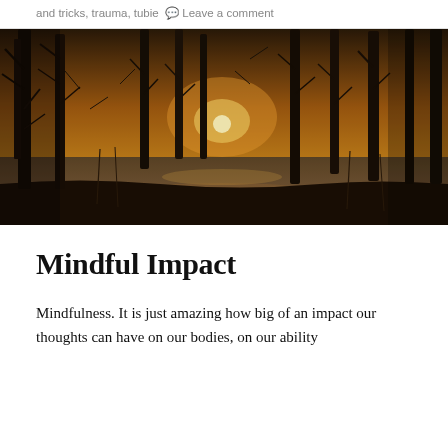and tricks, trauma, tubie 💬 Leave a comment
[Figure (photo): A winter forest scene at sunset with bare trees reflected in a still body of water, orange glow of the sun visible through the tree trunks.]
Mindful Impact
Mindfulness. It is just amazing how big of an impact our thoughts can have on our bodies, on our ability